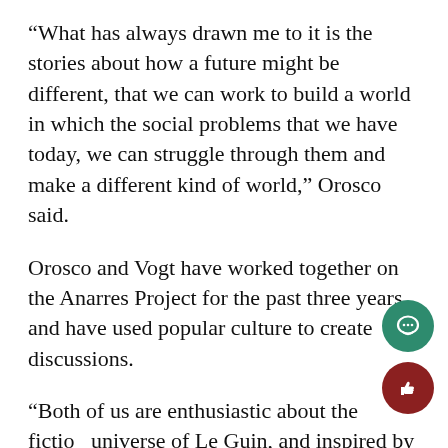“What has always drawn me to it is the stories about how a future might be different, that we can work to build a world in which the social problems that we have today, we can struggle through them and make a different kind of world,” Orosco said.
Orosco and Vogt have worked together on the Anarres Project for the past three years, and have used popular culture to create discussions.
“Both of us are enthusiastic about the fiction universe of Le Guin, and inspired by science fiction in general,” Vogt said. “As a way of thinking about social problems, here and n…